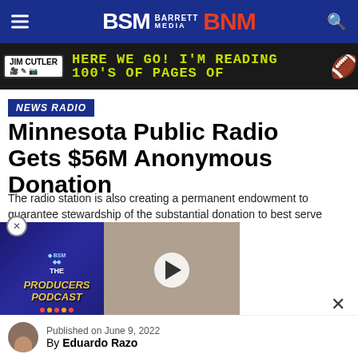BSM Barrett Media BNM
[Figure (infographic): Jim Cutler advertisement banner with text: HERE WE GO! I'M READING 100'S OF PAGES OF with football icon]
NEWS RADIO
Minnesota Public Radio Gets $56M Anonymous Donation
The radio station is also creating a permanent endowment to guarantee stewardship of the substantial donation to best serve the donor's designated purpose.
[Figure (screenshot): The Producers Podcast episode 8 video thumbnail featuring BIG BABY DAVID - JOMBOY MEDIA with play button overlay]
Published on June 9, 2022
By Eduardo Razo